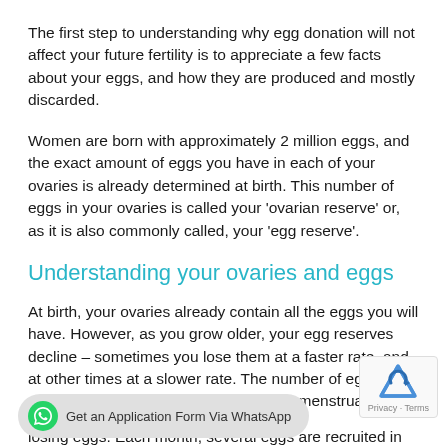The first step to understanding why egg donation will not affect your future fertility is to appreciate a few facts about your eggs, and how they are produced and mostly discarded.
Women are born with approximately 2 million eggs, and the exact amount of eggs you have in each of your ovaries is already determined at birth. This number of eggs in your ovaries is called your 'ovarian reserve' or, as it is also commonly called, your 'egg reserve'.
Understanding your ovaries and eggs
At birth, your ovaries already contain all the eggs you will have. However, as you grow older, your egg reserves decline – sometimes you lose them at a faster rate, and at other times at a slower rate. The number of eggs is reduced to around 200,000 by the time menstruation starts.
e also continue losing eggs. Each month, several eggs are recruited in